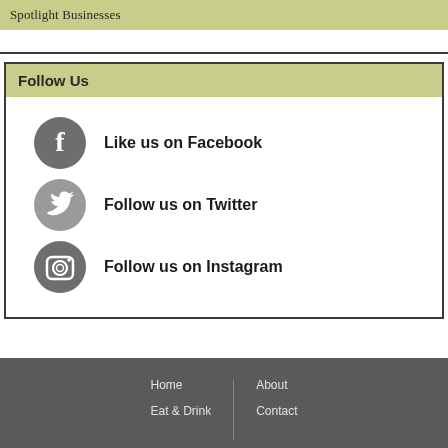Spotlight Businesses
Follow Us
Like us on Facebook
Follow us on Twitter
Follow us on Instagram
Home   Eat & Drink   About   Contact